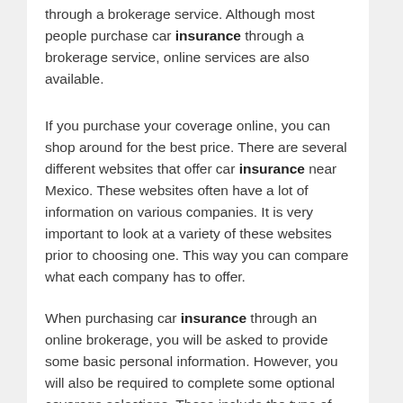through a brokerage service. Although most people purchase car insurance through a brokerage service, online services are also available.
If you purchase your coverage online, you can shop around for the best price. There are several different websites that offer car insurance near Mexico. These websites often have a lot of information on various companies. It is very important to look at a variety of these websites prior to choosing one. This way you can compare what each company has to offer.
When purchasing car insurance through an online brokerage, you will be asked to provide some basic personal information. However, you will also be required to complete some optional coverage selections. These include the type of car you want to insure, mileage, and how much coverage you are